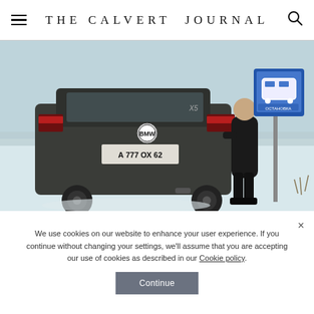THE CALVERT JOURNAL
[Figure (photo): A man in dark clothing leaning against the rear of a dark BMW X5 SUV (license plate А 777 ОХ 62) stuck in snow on a flat snowy landscape. A blue bus stop sign is visible to the right. The scene is overcast and wintry.]
We use cookies on our website to enhance your user experience. If you continue without changing your settings, we'll assume that you are accepting our use of cookies as described in our Cookie policy.
Continue